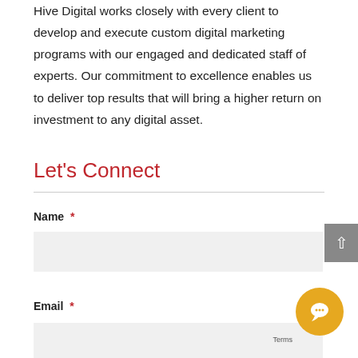Hive Digital works closely with every client to develop and execute custom digital marketing programs with our engaged and dedicated staff of experts. Our commitment to excellence enables us to deliver top results that will bring a higher return on investment to any digital asset.
Let's Connect
Name *
Email *